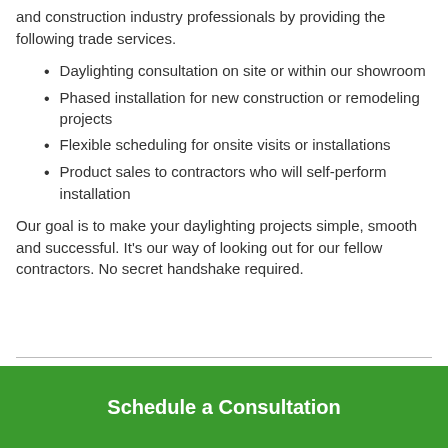and construction industry professionals by providing the following trade services.
Daylighting consultation on site or within our showroom
Phased installation for new construction or remodeling projects
Flexible scheduling for onsite visits or installations
Product sales to contractors who will self-perform installation
Our goal is to make your daylighting projects simple, smooth and successful. It's our way of looking out for our fellow contractors. No secret handshake required.
Schedule a Consultation